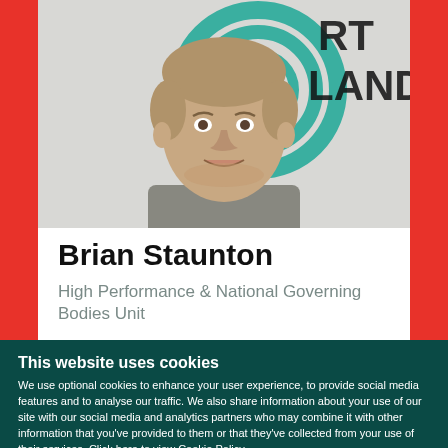[Figure (photo): Headshot photo of Brian Staunton, a man smiling, with a teal/green spiral logo visible in the background along with text 'RT LAND']
Brian Staunton
High Performance & National Governing Bodies Unit
This website uses cookies
We use optional cookies to enhance your user experience, to provide social media features and to analyse our traffic. We also share information about your use of our site with our social media and analytics partners who may combine it with other information that you've provided to them or that they've collected from your use of their services. Click here to view Cookie Policy
Allow selection | Allow all cookies
Necessary  Preferences  Statistics  Marketing  Show details